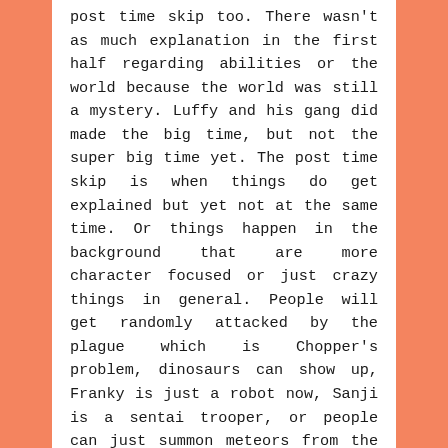post time skip too. There wasn't as much explanation in the first half regarding abilities or the world because the world was still a mystery. Luffy and his gang did made the big time, but not the super big time yet. The post time skip is when things do get explained but yet not at the same time. Or things happen in the background that are more character focused or just crazy things in general. People will get randomly attacked by the plague which is Chopper's problem, dinosaurs can show up, Franky is just a robot now, Sanji is a sentai trooper, or people can just summon meteors from the sky or turn into castles. That's One Piece, things just happen and it's a good, goofy cartoon or